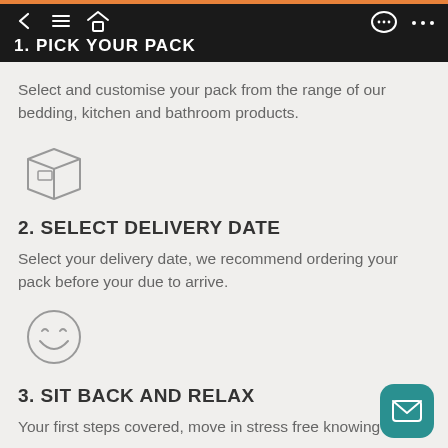1. PICK YOUR PACK
Select and customise your pack from the range of our bedding, kitchen and bathroom products.
[Figure (illustration): Box/package icon outline]
2. SELECT DELIVERY DATE
Select your delivery date, we recommend ordering your pack before your due to arrive.
[Figure (illustration): Smiley face icon outline]
3. SIT BACK AND RELAX
Your first steps covered, move in stress free knowing all